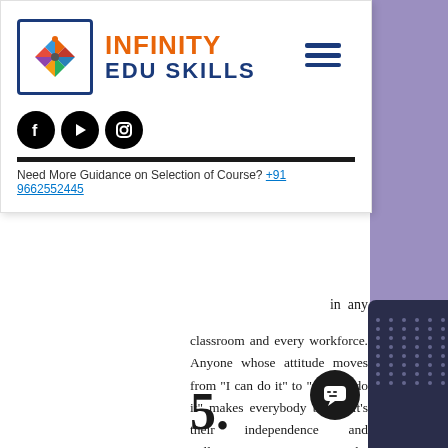[Figure (logo): Infinity Edu Skills logo with orange and blue text and colorful pinwheel icon inside a blue rectangular border]
[Figure (infographic): Hamburger menu icon (three horizontal lines) in dark blue]
[Figure (infographic): Social media icons: Facebook, YouTube, Instagram]
Need More Guidance on Selection of Course? +91 9662552445
in any classroom and every workforce. Anyone whose attitude moves from "I can do it" to "we can do it" makes everybody better. It's their independence and willingness to take responsibility for making good things happen, not just simply getting things done. That's why leaders see more, do more, and learn more.
5.